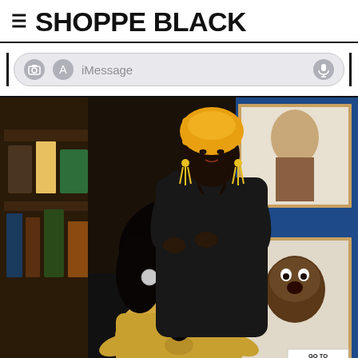SHOPPE BLACK
[Figure (screenshot): iMessage input bar with camera icon, app icon, iMessage text field, and microphone icon]
[Figure (photo): Two Black women in a colorful market/salon setting. One woman sits in a chair wearing a gold/beige wrap outfit with large hoop earrings and long natural hair. Another woman stands behind her styling her hair, wearing a black wrap dress, yellow tassel earrings, and a yellow head wrap. Artwork portraits are visible on a blue wall in the background.]
GO TO TOP